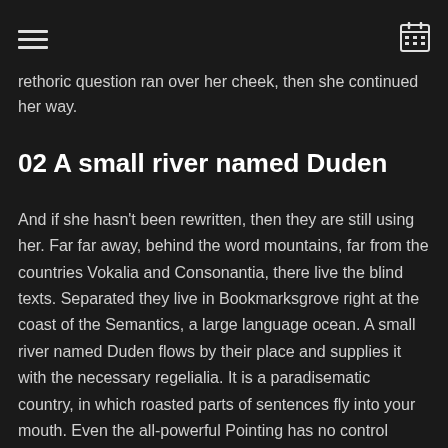[hamburger menu icon] [calendar icon]
rethoric question ran over her cheek, then she continued her way.
02 A small river named Duden
And if she hasn't been rewritten, then they are still using her. Far far away, behind the word mountains, far from the countries Vokalia and Consonantia, there live the blind texts. Separated they live in Bookmarksgrove right at the coast of the Semantics, a large language ocean. A small river named Duden flows by their place and supplies it with the necessary regelialia. It is a paradisematic country, in which roasted parts of sentences fly into your mouth. Even the all-powerful Pointing has no control about the blind texts it is an